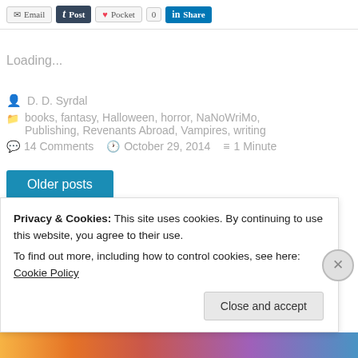[Figure (screenshot): Social sharing buttons: Email, t Post (Tumblr), Pocket with count 0, LinkedIn Share]
Loading...
D. D. Syrdal
books, fantasy, Halloween, horror, NaNoWriMo, Publishing, Revenants Abroad, Vampires, writing
14 Comments   October 29, 2014   1 Minute
Older posts
Privacy & Cookies: This site uses cookies. By continuing to use this website, you agree to their use.
To find out more, including how to control cookies, see here: Cookie Policy
Close and accept